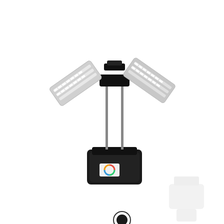[Figure (photo): Adjustable wing lantern product photo showing a black base unit with two adjustable wing-shaped light panels on metal rods extending outward, with a colorful circular logo/button on the front of the base.]
[Figure (illustration): Black filled circle color swatch with outer ring, indicating the selected color option (black).]
Adjustable Wing Lantern
$14.08 — $28.10
Minimum quantity 25
[Figure (photo): Faint ghost/watermark image of another product in the bottom right corner.]